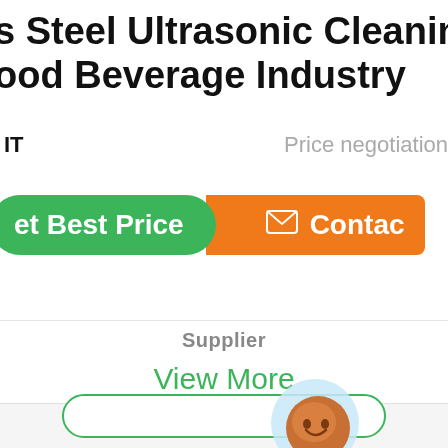s Steel Ultrasonic Cleaning Equipment Food Beverage Industry
IT   Price negotiation
[Figure (screenshot): Green 'Get Best Price' button and orange 'Contact' button with a chat bubble overlay showing 'Chat Now']
Supplier
View More
[Figure (screenshot): Bottom outline button with green border]